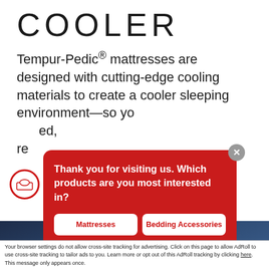COOLER
Tempur-Pedic® mattresses are designed with cutting-edge cooling materials to create a cooler sleeping environment—so yo...ed, re...
[Figure (screenshot): Red popup dialog overlay on a Tempur-Pedic website asking 'Thank you for visiting us. Which products are you most interested in?' with four buttons: Mattresses, Bedding Accessories, Furniture, Not Sure. Just Looking.]
pt and Close ✕
Your browser settings do not allow cross-site tracking for advertising. Click on this page to allow AdRoll to use cross-site tracking to tailor ads to you. Learn more or opt out of this AdRoll tracking by clicking here. This message only appears once.